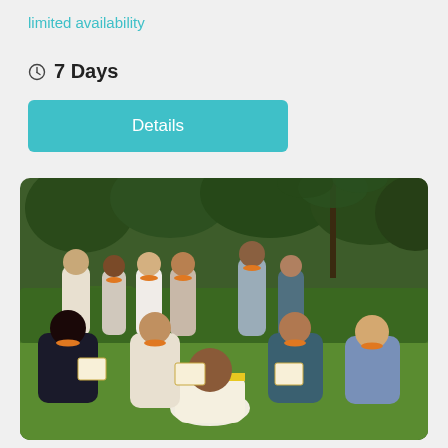limited availability
7 Days
Details
[Figure (photo): Group photo of yoga/wellness retreat participants wearing orange flower garlands, seated and standing on grass surrounded by lush green trees and hedges in an outdoor garden setting in India. A person in a white and yellow shawl bows in the foreground.]